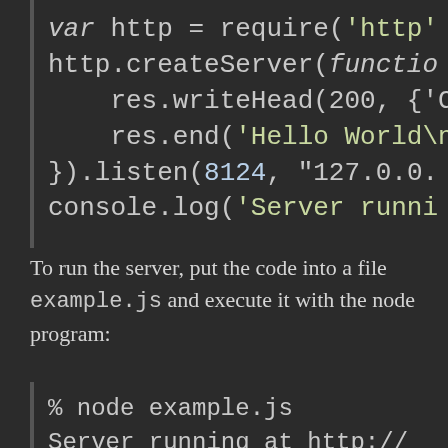[Figure (screenshot): Code block showing Node.js HTTP server creation with syntax highlighting on dark background. Lines: var http = require('http', http.createServer(functio, res.writeHead(200, {'Co, res.end('Hello World\n', }).listen(8124, "127.0.0., console.log('Server runni]
To run the server, put the code into a file example.js and execute it with the node program:
[Figure (screenshot): Code block showing terminal commands: % node example.js and Server running at http://]
Here is an example of a simple TCP server which listens on port 8124 and